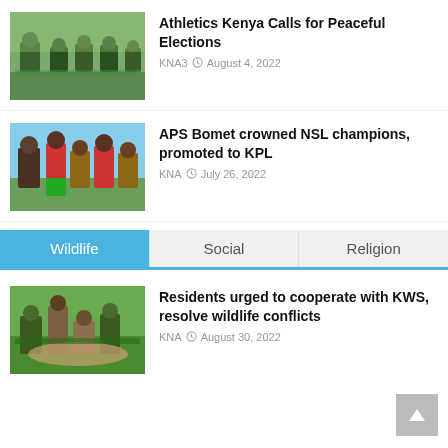[Figure (photo): Group of athletes posing on a grass field]
Athletics Kenya Calls for Peaceful Elections
KNA3  August 4, 2022
[Figure (photo): People in uniform interacting outdoors]
APS Bomet crowned NSL champions, promoted to KPL
KNA  July 26, 2022
Wildlife  Social  Religion
[Figure (photo): People working with wildlife on the ground outdoors]
Residents urged to cooperate with KWS, resolve wildlife conflicts
KNA  August 30, 2022